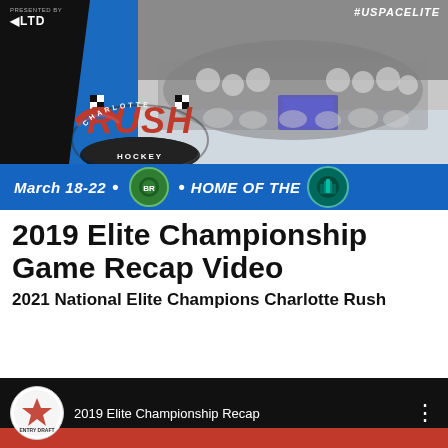[Figure (illustration): Charlotte Rush hockey banner with team photo, Rush logo, #USPACELITE hashtag, PRESENTED BY LTD text, March 18-22 dates, HOME OF THE text with logos, blue background]
2019 Elite Championship Game Recap Video
2021 National Elite Champions Charlotte Rush
[Figure (screenshot): YouTube video thumbnail showing '2019 Elite Championship Recap' with Entry Draft logo circle icon, dark background with red bar at bottom]